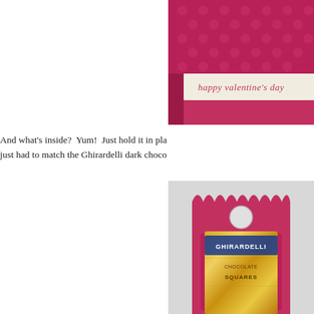[Figure (photo): A pink/magenta Valentine's Day gift box with a polka-dot texture on top, a cream-colored paper band around the middle stamped with 'happy valentine's day' in pink cursive text, and a dark pink base.]
And what's inside?  Yum!  Just hold it in pla just had to match the Ghirardelli dark choco
[Figure (photo): A pink/magenta card holder with scalloped top edge and hang hole, containing a Ghirardelli dark chocolate squares package in gold foil wrapper.]